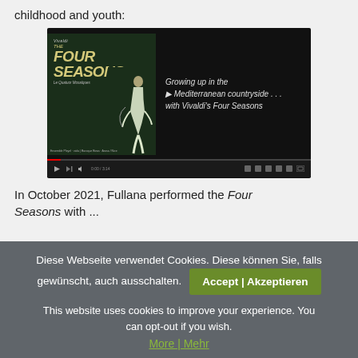childhood and youth:
[Figure (screenshot): YouTube-style video player showing a music video thumbnail. Left side shows an album cover for Vivaldi's 'The Four Seasons' with a violinist in a garden. Right side text reads: 'Growing up in the Mediterranean countryside . . . with Vivaldi's Four Seasons'. Black background with video controls at the bottom.]
In October 2021, Fullana performed the Four Seasons with ...
Diese Webseite verwendet Cookies. Diese können Sie, falls gewünscht, auch ausschalten.
Accept | Akzeptieren
This website uses cookies to improve your experience. You can opt-out if you wish.
More | Mehr